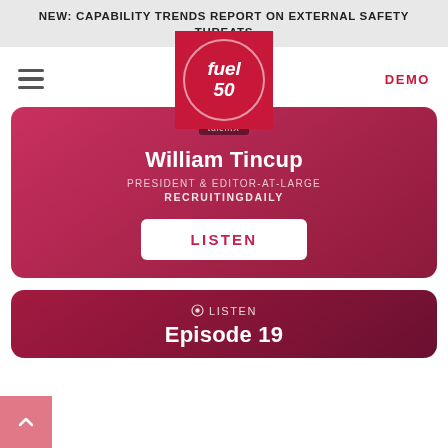NEW: CAPABILITY TRENDS REPORT ON EXTERNAL SAFETY THREATS
[Figure (logo): Fuel50 logo — red square with white circle border containing italic text 'fuel' and '50']
DEMO
[Figure (other): talentX badge/label in dark overlay]
William Tincup
PRESIDENT & EDITOR-AT-LARGE
RECRUITINGDAILY
LISTEN
🎙 LISTEN
Episode 19